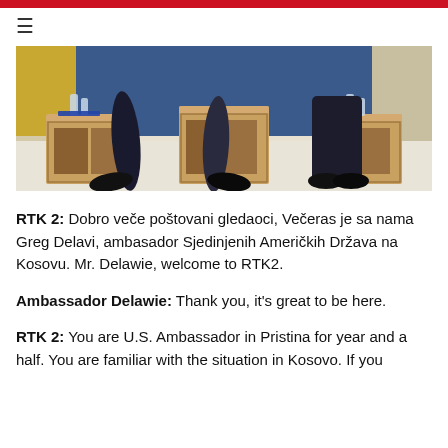≡
[Figure (photo): A TV interview scene showing two people seated across from small wooden cube-shaped side tables with water bottles on them, in a brightly lit studio environment.]
RTK 2: Dobro veče poštovani gledaoci, Večeras je sa nama Greg Delavi, ambasador Sjedinjenih Američkih Država na Kosovu. Mr. Delawie, welcome to RTK2.
Ambassador Delawie: Thank you, it's great to be here.
RTK 2: You are U.S. Ambassador in Pristina for year and a half. You are familiar with the situation in Kosovo. If you